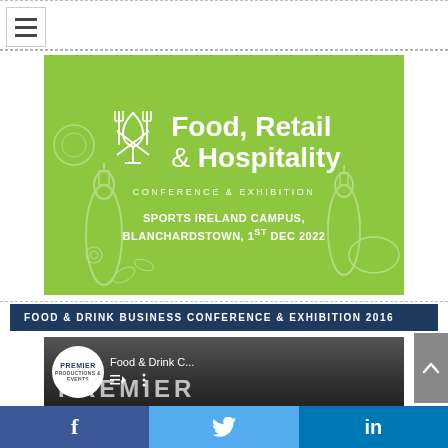[Figure (illustration): Food, Retail & Hospitality Conference & Exhibition banner on green background with cutlery/wine glass icon and food illustrations. Text: Food, Retail & Hospitality CONFERENCE & EXHIBITION. SPORTS IRELAND CAMPUS, BLANCHARDSTOWN, 1ST DEC 2022]
FOOD & DRINK BUSINESS CONFERENCE & EXHIBITION 2016
[Figure (screenshot): Video thumbnail showing Premier Productions logo and Food & Drink C... video title with playlist and menu icons, and PREMIER text overlay]
[Figure (infographic): Social media share bar with Facebook, Twitter, and LinkedIn buttons]